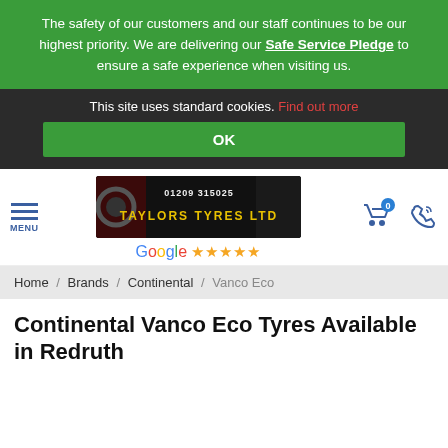The safety of our customers and our staff continues to be our highest priority. We are delivering our Safe Service Pledge to ensure a safe experience when visiting us.
This site uses standard cookies. Find out more
OK
[Figure (logo): Taylors Tyres Ltd logo with phone number 01209 315025, Google 5-star rating, menu icon and cart icon]
Home / Brands / Continental / Vanco Eco
Continental Vanco Eco Tyres Available in Redruth